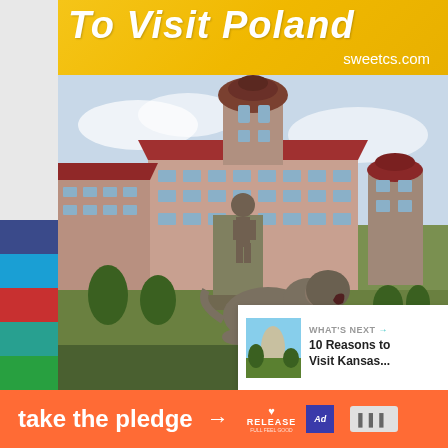[Figure (photo): Travel blog page showing a Polish castle (Książ Castle) with baroque statues in foreground. Yellow banner at top reads 'To Visit Poland' with sweetcs.com website. Color swatches on left side. Social media buttons (heart=133 likes, share) on right. 'What's Next' panel showing Kansas travel link. Orange 'take the pledge' banner at bottom.]
To Visit Poland
sweetcs.com
133
WHAT'S NEXT →
10 Reasons to Visit Kansas...
take the pledge →